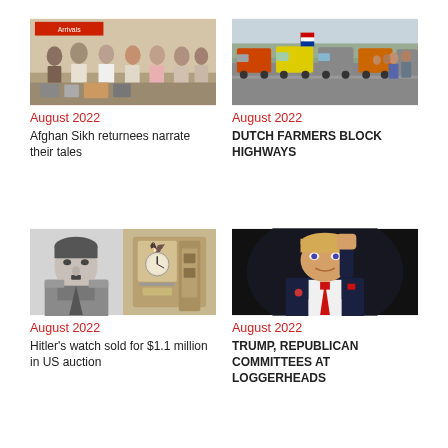[Figure (photo): Group of Sikh men standing in an airport arrivals area with luggage]
August 2022
Afghan Sikh returnees narrate their tales
[Figure (photo): Convoy of trucks and tractors blocking a highway, with flags visible]
August 2022
DUTCH FARMERS BLOCK HIGHWAYS
[Figure (photo): Black and white image of Hitler alongside a photo of a watch with Nazi eagle emblem]
August 2022
Hitler's watch sold for $1.1 million in US auction
[Figure (photo): Donald Trump raising his fist against a dark background, wearing a suit with red tie]
August 2022
TRUMP, REPUBLICAN COMMITTEES AT LOGGERHEADS